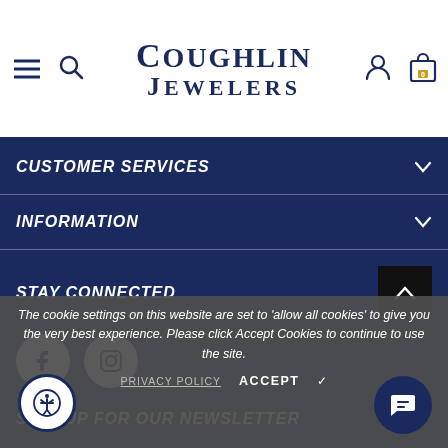Coughlin Jewelers - navigation header with hamburger menu, search, logo, user icon, and bag icon (0 items)
CUSTOMER SERVICES
INFORMATION
STAY CONNECTED
SIGN UP FOR OUR NEWSLETTER
The cookie settings on this website are set to 'allow all cookies' to give you the very best experience. Please click Accept Cookies to continue to use the site.
PRIVACY POLICY   ACCEPT ✓